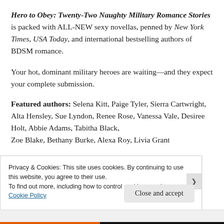Hero to Obey: Twenty-Two Naughty Military Romance Stories is packed with ALL-NEW sexy novellas, penned by New York Times, USA Today, and international bestselling authors of BDSM romance.
Your hot, dominant military heroes are waiting—and they expect your complete submission.
Featured authors: Selena Kitt, Paige Tyler, Sierra Cartwright, Alta Hensley, Sue Lyndon, Renee Rose, Vanessa Vale, Desiree Holt, Abbie Adams, Tabitha Black, Zoe Blake, Bethany Burke, Alexa Roy, Livia Grant...
Privacy & Cookies: This site uses cookies. By continuing to use this website, you agree to their use.
To find out more, including how to control cookies, see here:
Cookie Policy
Close and accept